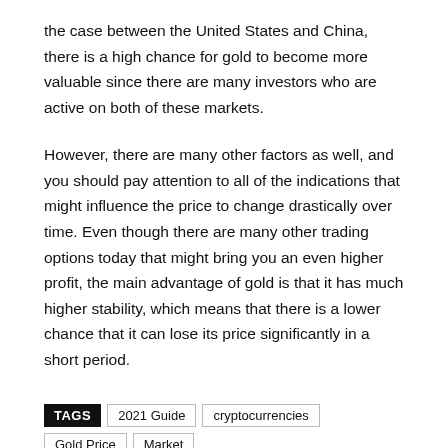the case between the United States and China, there is a high chance for gold to become more valuable since there are many investors who are active on both of these markets.
However, there are many other factors as well, and you should pay attention to all of the indications that might influence the price to change drastically over time. Even though there are many other trading options today that might bring you an even higher profit, the main advantage of gold is that it has much higher stability, which means that there is a lower chance that it can lose its price significantly in a short period.
TAGS  2021 Guide  cryptocurrencies  Gold Price  Market  Movement price  stocks
Previous article   Next article